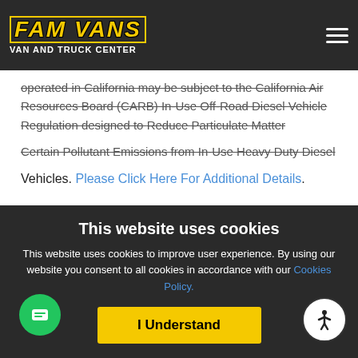[Figure (logo): FAM VANS Van and Truck Center logo on dark navigation bar with hamburger menu icon]
operated in California may be subject to the California Air Resources Board (CARB) In-Use Off-Road Diesel Vehicle Regulation designed to Reduce Particulate Matter and Oxides of Nitrogen and Certain Pollutant Emissions from In-Use Heavy Duty Diesel Vehicles. Please Click Here For Additional Details.
This website uses cookies
This website uses cookies to improve user experience. By using our website you consent to all cookies in accordance with our Cookies Policy.